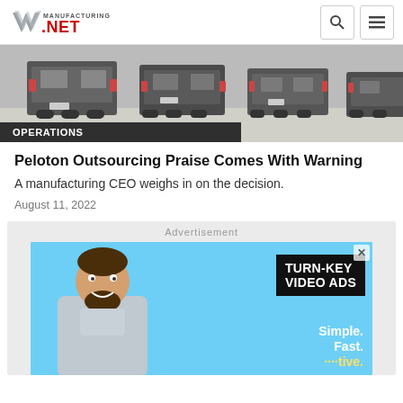Manufacturing.NET
[Figure (photo): Row of trucks/vans lined up from behind in a parking lot, grayscale tones. OPERATIONS label overlaid on dark banner at bottom left.]
Peloton Outsourcing Praise Comes With Warning
A manufacturing CEO weighs in on the decision.
August 11, 2022
[Figure (advertisement): Advertisement banner with light blue background showing a bearded man smiling, with overlaid black text block reading 'TURN-KEY VIDEO ADS' and bottom text 'Simple. Fast. [something]ive.' An X close button appears in the top right.]